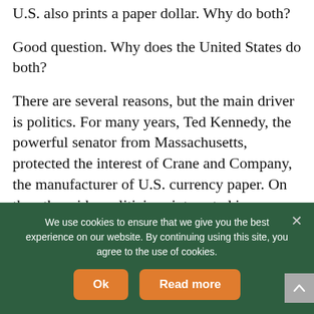U.S. also prints a paper dollar. Why do both?
Good question. Why does the United States do both?
There are several reasons, but the main driver is politics. For many years, Ted Kennedy, the powerful senator from Massachusetts, protected the interest of Crane and Company, the manufacturer of U.S. currency paper. On the other side, politicians interested in manipulating people against the government convinced them taking the paper dollar away
We use cookies to ensure that we give you the best experience on our website. By continuing using this site, you agree to the use of cookies.